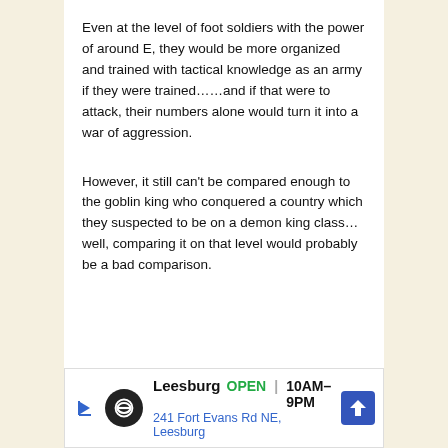Even at the level of foot soldiers with the power of around E, they would be more organized and trained with tactical knowledge as an army if they were trained……and if that were to attack, their numbers alone would turn it into a war of aggression.
However, it still can't be compared enough to the goblin king who conquered a country which they suspected to be on a demon king class…well, comparing it on that level would probably be a bad comparison.
[Figure (other): Advertisement banner for Leesburg showing logo, open hours (10AM-9PM), address (241 Fort Evans Rd NE, Leesburg), and navigation icon.]